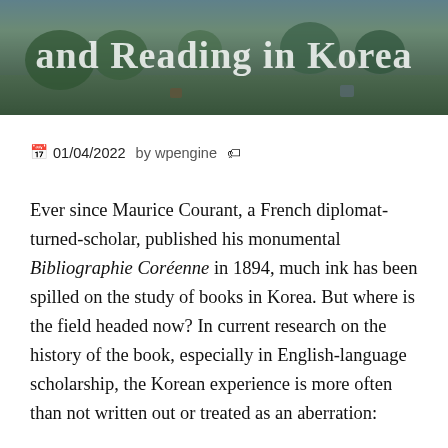[Figure (photo): Hero image of a Korean garden/courtyard scene with trees and pots, with overlaid title text 'and Reading in Korea' in white serif font]
📅 01/04/2022   by wpengine 🏷
Ever since Maurice Courant, a French diplomat-turned-scholar, published his monumental Bibliographie Coréenne in 1894, much ink has been spilled on the study of books in Korea. But where is the field headed now? In current research on the history of the book, especially in English-language scholarship, the Korean experience is more often than not written out or treated as an aberration: